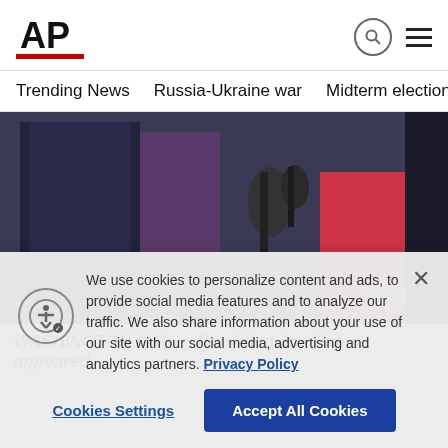[Figure (logo): AP (Associated Press) logo — bold black AP letters with red underline bar]
AP logo header with search icon and hamburger menu
Trending News    Russia-Ukraine war    Midterm elections    Dona
[Figure (photo): Photo of people at a press conference, individuals in dark suits and a woman in a red dress with microphones visible]
WASHINGTON (AP) — President Joe Biden appeared
We use cookies to personalize content and ads, to provide social media features and to analyze our traffic. We also share information about your use of our site with our social media, advertising and analytics partners. Privacy Policy
Cookies Settings
Accept All Cookies